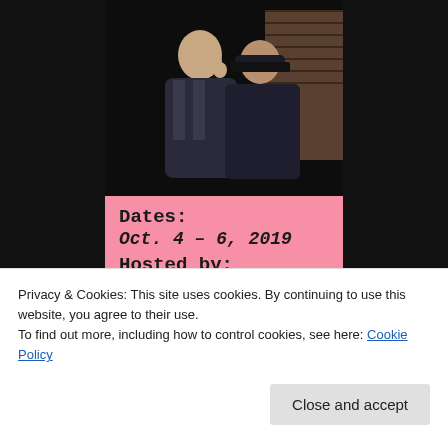[Figure (photo): Two men in vintage/period clothing standing close together, one touching his face, in a dark outdoor scene]
Dates: Oct. 4 - 6, 2019 Hosted by: MovieMovieBlogBlog II
THE
Privacy & Cookies: This site uses cookies. By continuing to use this website, you agree to their use.
To find out more, including how to control cookies, see here: Cookie Policy
Close and accept